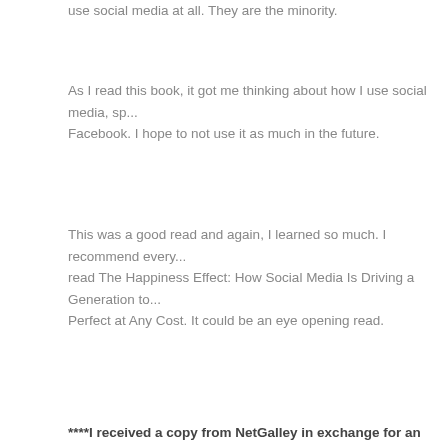use social media at all. They are the minority.
As I read this book, it got me thinking about how I use social media, specifically Facebook. I hope to not use it as much in the future.
This was a good read and again, I learned so much. I recommend everyone read The Happiness Effect: How Social Media Is Driving a Generation to Appear Perfect at Any Cost. It could be an eye opening read.
****I received a copy from NetGalley in exchange for an honest review.
Tags: 5 stars, millennials, NetGalley, social media, Social Psychology & Interactions
© 2022 Jessica's Reading Room